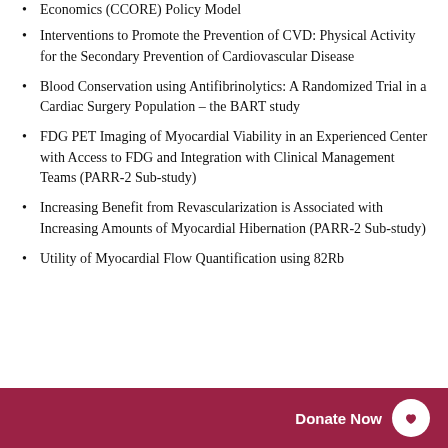Economics (CCORE) Policy Model
Interventions to Promote the Prevention of CVD: Physical Activity for the Secondary Prevention of Cardiovascular Disease
Blood Conservation using Antifibrinolytics: A Randomized Trial in a Cardiac Surgery Population – the BART study
FDG PET Imaging of Myocardial Viability in an Experienced Center with Access to FDG and Integration with Clinical Management Teams (PARR-2 Sub-study)
Increasing Benefit from Revascularization is Associated with Increasing Amounts of Myocardial Hibernation (PARR-2 Sub-study)
Utility of Myocardial Flow Quantification using 82Rb
Donate Now